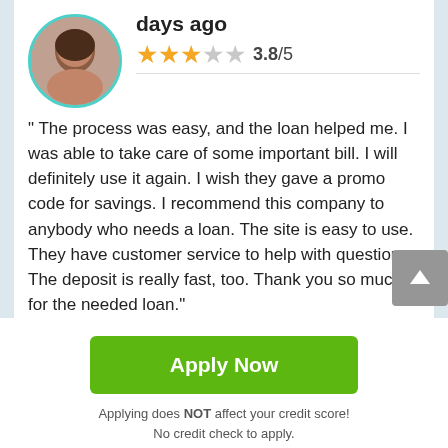days ago
3.8/5 (star rating)
" The process was easy, and the loan helped me. I was able to take care of some important bill. I will definitely use it again. I wish they gave a promo code for savings. I recommend this company to anybody who needs a loan. The site is easy to use. They have customer service to help with questions. The deposit is really fast, too. Thank you so much for the needed loan."
Apply Now
Applying does NOT affect your credit score!
No credit check to apply.